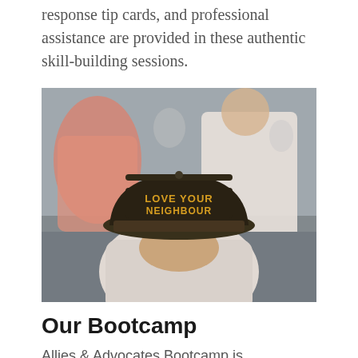response tip cards, and professional assistance are provided in these authentic skill-building sessions.
[Figure (photo): A person facing down wearing a black snapback hat with 'LOVE YOUR NEIGHBOUR' printed on it in gold/yellow letters. Blurred crowd in background.]
Our Bootcamp
Allies & Advocates Bootcamp is participatory scenario-based instruction that provides opportunities for individuals to learn about and practice responses to incidents that might occur in...